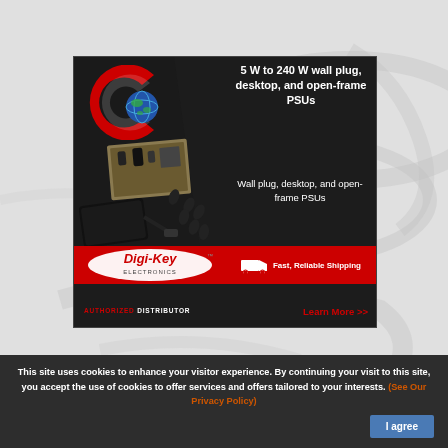[Figure (illustration): Digi-Key Electronics advertisement for CUI Inc. PSUs (5W to 240W wall plug, desktop, and open-frame). Dark background with red C logo, globe icon, product photos of power supplies and adapters. Red Digi-Key logo strip with truck/shipping icon, Authorized Distributor text, and Learn More link.]
This site uses cookies to enhance your visitor experience. By continuing your visit to this site, you accept the use of cookies to offer services and offers tailored to your interests. (See Our Privacy Policy)
I agree